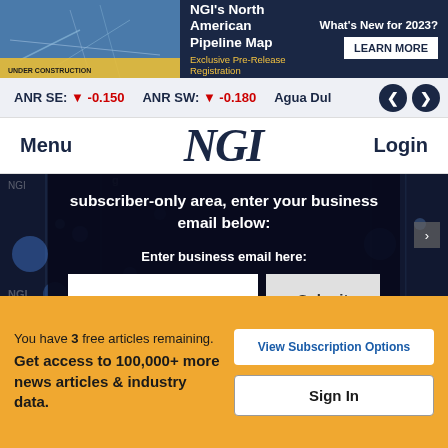[Figure (screenshot): NGI North American Pipeline Map banner ad with map background, yellow caution tape, title text and Learn More button]
ANR SE: ▼ -0.150   ANR SW: ▼ -0.180   Agua Dul…
Menu   NGI   Login
subscriber-only area, enter your business email below:
Enter business email here:
Submit
You have 3 free articles remaining. Get access to 100,000+ more news articles & industry data.
View Subscription Options
Sign In